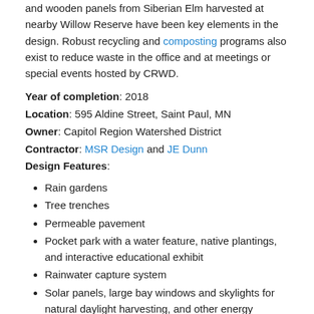and wooden panels from Siberian Elm harvested at nearby Willow Reserve have been key elements in the design. Robust recycling and composting programs also exist to reduce waste in the office and at meetings or special events hosted by CRWD.
Year of completion: 2018
Location: 595 Aldine Street, Saint Paul, MN
Owner: Capitol Region Watershed District
Contractor: MSR Design and JE Dunn
Design Features:
Rain gardens
Tree trenches
Permeable pavement
Pocket park with a water feature, native plantings, and interactive educational exhibit
Rainwater capture system
Solar panels, large bay windows and skylights for natural daylight harvesting, and other energy efficient components
Pretreatment Features: The rainwater capture system includes a pretreatment system consisting of a series of filters to remove big and fine particles
Total Drainage Area: Total site and building area is